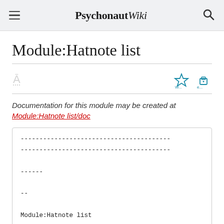PsychonautWiki
Module:Hatnote list
Documentation for this module may be created at Module:Hatnote list/doc
-------- dashes code block showing Module:Hatnote list